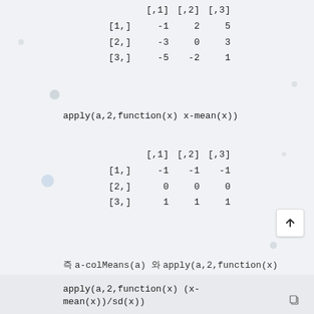|  | [,1] | [,2] | [,3] |
| --- | --- | --- | --- |
| [1,] | -1 | 2 | 5 |
| [2,] | -3 | 0 | 3 |
| [3,] | -5 | -2 | 1 |
apply(a,2,function(x) x-mean(x))
|  | [,1] | [,2] | [,3] |
| --- | --- | --- | --- |
| [1,] | -1 | -1 | -1 |
| [2,] | 0 | 0 | 0 |
| [3,] | 1 | 1 | 1 |
즉 a-colMeans(a) 와 apply(a,2,function(x) x-mean(x)) 는 같은결과를 나타낸다.
이번엔 apply 의다른예를보겠습니다
apply(a,2,function(x) (x-mean(x))/sd(x))